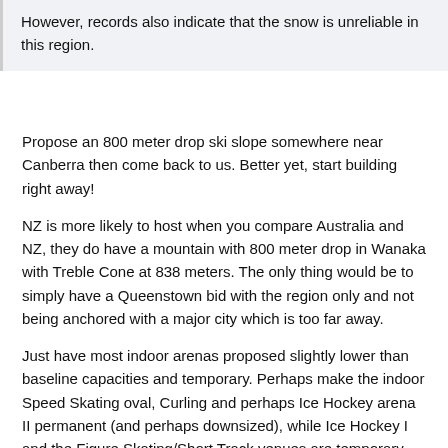However, records also indicate that the snow is unreliable in this region.
Propose an 800 meter drop ski slope somewhere near Canberra then come back to us. Better yet, start building right away!
NZ is more likely to host when you compare Australia and NZ, they do have a mountain with 800 meter drop in Wanaka with Treble Cone at 838 meters. The only thing would be to simply have a Queenstown bid with the region only and not being anchored with a major city which is too far away.
Just have most indoor arenas proposed slightly lower than baseline capacities and temporary. Perhaps make the indoor Speed Skating oval, Curling and perhaps Ice Hockey arena II permanent (and perhaps downsized), while Ice Hockey I and the Figure Skating/Short Track venues are temporary.
The Ski jumps, Biathlon/Cross Country Skiing course and sliding centre will be permanent, as will of course any development of existing ski slopes.